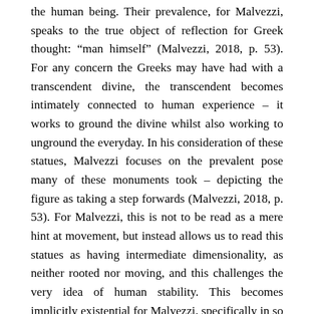the human being. Their prevalence, for Malvezzi, speaks to the true object of reflection for Greek thought: “man himself” (Malvezzi, 2018, p. 53). For any concern the Greeks may have had with a transcendent divine, the transcendent becomes intimately connected to human experience – it works to ground the divine whilst also working to unground the everyday. In his consideration of these statues, Malvezzi focuses on the prevalent pose many of these monuments took – depicting the figure as taking a step forwards (Malvezzi, 2018, p. 53). For Malvezzi, this is not to be read as a mere hint at movement, but instead allows us to read this statues as having intermediate dimensionality, as neither rooted nor moving, and this challenges the very idea of human stability. This becomes implicitly existential for Malvezzi, specifically in so far as it comes to challenge the advice of Tirtaeus: that one should “have both feet planted on the ground”